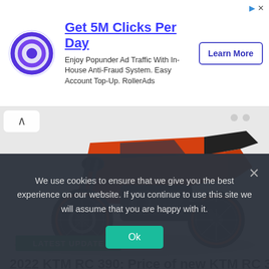[Figure (advertisement): RollerAds advertisement banner with target/bullseye logo. Headline: 'Get 5M Clicks Per Day'. Description: 'Enjoy Popunder Ad Traffic With In-House Anti-Fraud System. Easy Account Top-Up. RollerAds'. Button: 'Learn More']
[Figure (photo): Orange and black KTM RC 390 sport motorcycle photographed from the front-left angle on a white background. Green 'LATEST UPDATE' tag overlaid at the bottom-left.]
2022 KTM RC 390: Price of new KTM RC 390 leaked
We use cookies to ensure that we give you the best experience on our website. If you continue to use this site we will assume that you are happy with it.